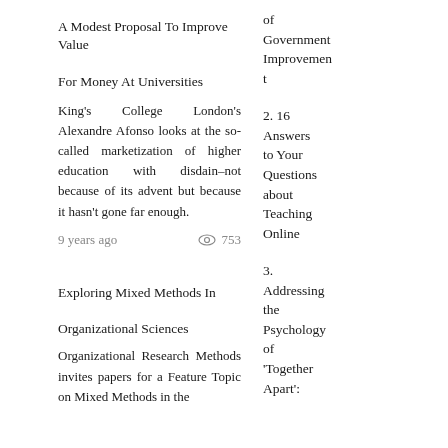A Modest Proposal To Improve Value For Money At Universities
King's College London's Alexandre Afonso looks at the so-called marketization of higher education with disdain–not because of its advent but because it hasn't gone far enough.
9 years ago   © 753
Exploring Mixed Methods In Organizational Sciences
Organizational Research Methods invites papers for a Feature Topic on Mixed Methods in the
of Government Improvement
2. 16 Answers to Your Questions about Teaching Online
3. Addressing the Psychology of 'Together Apart':